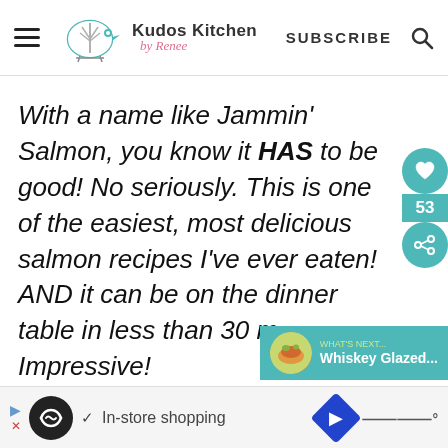Kudos Kitchen by Renee — SUBSCRIBE
With a name like Jammin' Salmon, you know it HAS to be good! No seriously. This is one of the easiest, most delicious salmon recipes I've ever eaten! AND it can be on the dinner table in less than 30 [minutes]. Impressive!
[Figure (screenshot): Social share sidebar with teal circular icons: heart icon, count 53, share icon]
[Figure (screenshot): What's Next popup with teal background, food thumbnail, and text 'Whiskey Glazed...']
[Figure (screenshot): Bottom ad bar: In-store shopping advertisement with navigation icons]